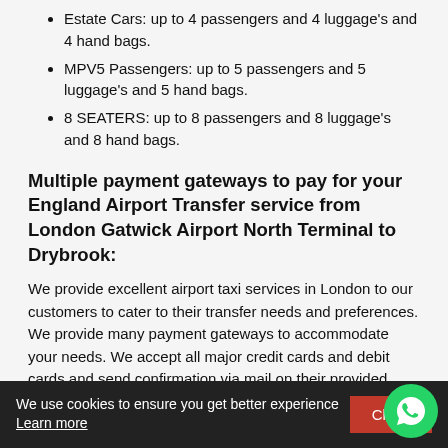Estate Cars: up to 4 passengers and 4 luggage's and 4 hand bags.
MPV5 Passengers: up to 5 passengers and 5 luggage's and 5 hand bags.
8 SEATERS: up to 8 passengers and 8 luggage's and 8 hand bags.
Multiple payment gateways to pay for your England Airport Transfer service from London Gatwick Airport North Terminal to Drybrook:
We provide excellent airport taxi services in London to our customers to cater to their transfer needs and preferences. We provide many payment gateways to accommodate your needs. We accept all major credit cards and debit cards and send confirmation via mail on their provided email address.
Comfortable free baby seats for your England Airport Transfer service from London Gatwick Airport North Terminal to
We use cookies to ensure you get better experience Learn more